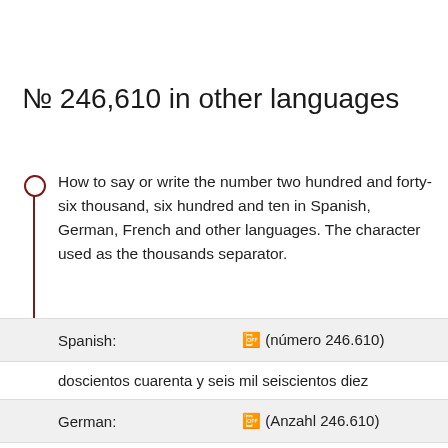№ 246,610 in other languages
How to say or write the number two hundred and forty-six thousand, six hundred and ten in Spanish, German, French and other languages. The character used as the thousands separator.
| Language | Value |
| --- | --- |
| Spanish: | 🔢 (número 246.610) |
|  | doscientos cuarenta y seis mil seiscientos diez |
| German: | 🔢 (Anzahl 246.610) |
|  | zweihundertsechsundvierzigtausendsechshundertzehn |
| French: | 🔢 (nombre 246.610) |